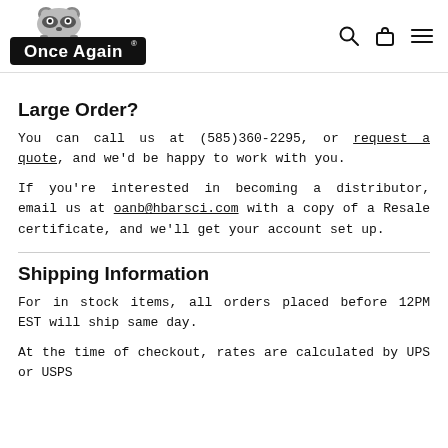Once Again [logo with raccoon]
Large Order?
You can call us at (585)360-2295, or request a quote, and we'd be happy to work with you.
If you're interested in becoming a distributor, email us at oanb@hbarsci.com with a copy of a Resale certificate, and we'll get your account set up.
Shipping Information
For in stock items, all orders placed before 12PM EST will ship same day.
At the time of checkout, rates are calculated by UPS or USPS